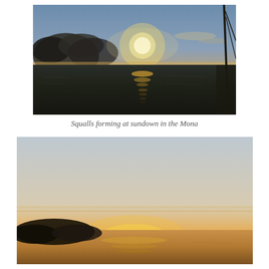[Figure (photo): Ocean sunset photograph taken from a sailboat. A bright sun shines through dark storm clouds on the left, reflecting a glimmering path on dark choppy ocean water. The right edge shows a sailboat mast and rigging. Sky transitions from blue-grey at top to golden yellow near the horizon.]
Squalls forming at sundown in the Mona
[Figure (photo): Sunset panorama photograph showing a wide calm ocean or sea at dusk. The sky is pale grey-blue fading to warm orange and golden tones near the horizon. A dark silhouetted landmass (island or headland) sits on the left horizon. The sun is just below or at the horizon creating an orange glow.]